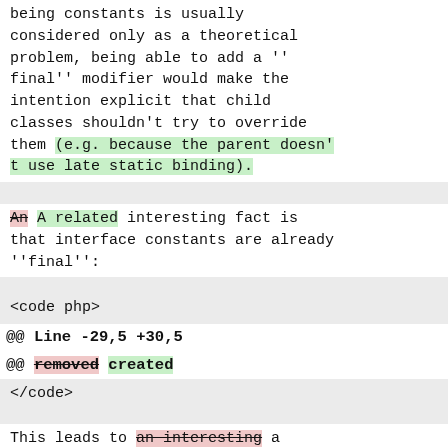being constants is usually considered only as a theoretical problem, being able to add a ''final'' modifier would make the intention explicit that child classes shouldn't try to override them (e.g. because the parent doesn't use late static binding).
An A related interesting fact is that interface constants are already ''final'':
<code php>
@@ Line -29,5 +30,5
@@ removed created
</code>
This leads to an interesting a